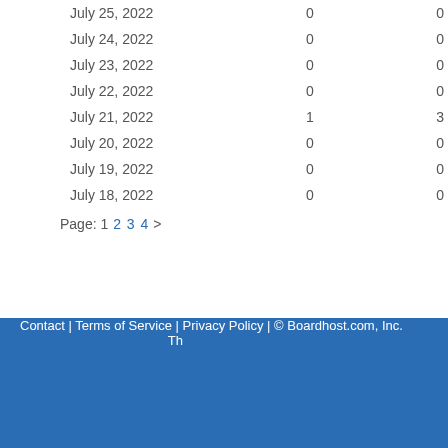| Date | Count |  |
| --- | --- | --- |
| July 25, 2022 | 0 | 0 |
| July 24, 2022 | 0 | 0 |
| July 23, 2022 | 0 | 0 |
| July 22, 2022 | 0 | 0 |
| July 21, 2022 | 1 | 3 |
| July 20, 2022 | 0 | 0 |
| July 19, 2022 | 0 | 0 |
| July 18, 2022 | 0 | 0 |
Page: 1 2 3 4 >
Contact | Terms of Service | Privacy Policy | © Boardhost.com, Inc. Th